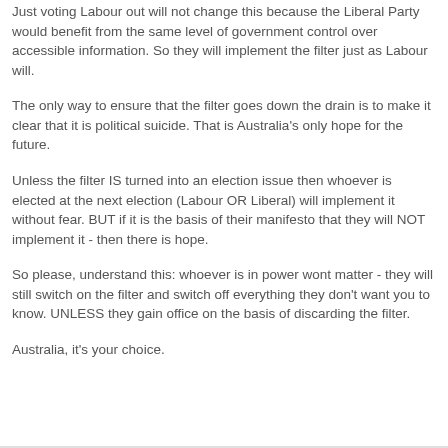Just voting Labour out will not change this because the Liberal Party would benefit from the same level of government control over accessible information. So they will implement the filter just as Labour will.
The only way to ensure that the filter goes down the drain is to make it clear that it is political suicide. That is Australia's only hope for the future.
Unless the filter IS turned into an election issue then whoever is elected at the next election (Labour OR Liberal) will implement it without fear. BUT if it is the basis of their manifesto that they will NOT implement it - then there is hope.
So please, understand this: whoever is in power wont matter - they will still switch on the filter and switch off everything they don't want you to know. UNLESS they gain office on the basis of discarding the filter.
Australia, it's your choice.